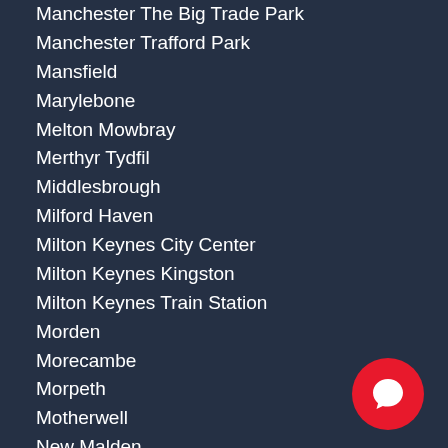Manchester The Big Trade Park
Manchester Trafford Park
Mansfield
Marylebone
Melton Mowbray
Merthyr Tydfil
Middlesbrough
Milford Haven
Milton Keynes City Center
Milton Keynes Kingston
Milton Keynes Train Station
Morden
Morecambe
Morpeth
Motherwell
New Malden
Newark On Trent
Newbury
Newcastle Airport
Newcastle Gateshead
Newcastle Train Station
Newcastle Upon Tyne Train Station
Newport
Newquay